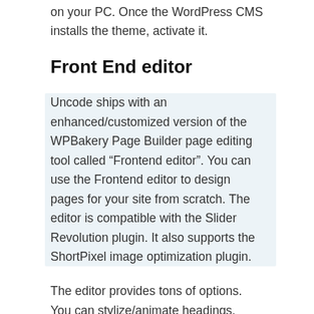on your PC. Once the WordPress CMS installs the theme, activate it.
Front End editor
Uncode ships with an enhanced/customized version of the WPBakery Page Builder page editing tool called “Frontend editor”. You can use the Frontend editor to design pages for your site from scratch. The editor is compatible with the Slider Revolution plugin. It also supports the ShortPixel image optimization plugin.
The editor provides tons of options. You can stylize/animate headings, change the design of rows/columns, customize the images, etc with the